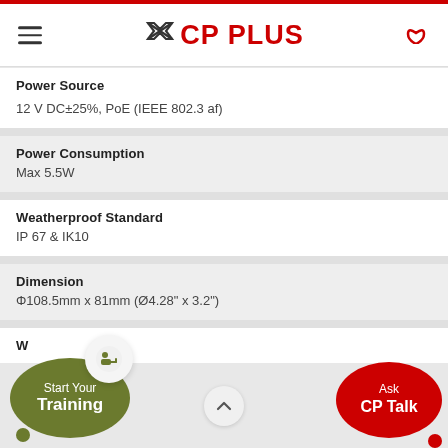CP PLUS
Power Source
12 V DC±25%, PoE (IEEE 802.3 af)
Power Consumption
Max 5.5W
Weatherproof Standard
IP 67 & IK10
Dimension
Φ108.5mm x 81mm (Ø4.28" x 3.2")
W
[Figure (infographic): Start Your Training button (olive green oval), Ask CP Talk button (red oval), up chevron button (white circle), training icon (white circle with person-at-desk icon)]